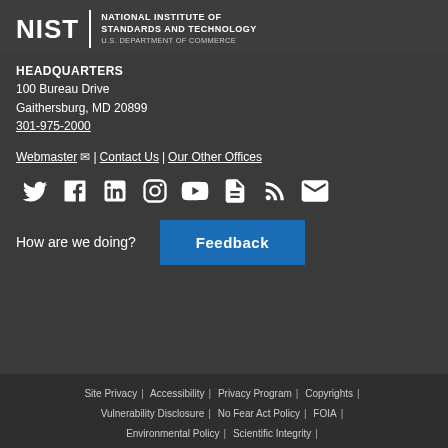[Figure (logo): NIST logo — National Institute of Standards and Technology, U.S. Department of Commerce]
HEADQUARTERS
100 Bureau Drive
Gaithersburg, MD 20899
301-975-2000
Webmaster ✉ | Contact Us | Our Other Offices
[Figure (infographic): Social media icons row: Twitter, Facebook, LinkedIn, Instagram, YouTube, document, RSS, email]
How are we doing?  Feedback
Site Privacy | Accessibility | Privacy Program | Copyrights | Vulnerability Disclosure | No Fear Act Policy | FOIA | Environmental Policy | Scientific Integrity |